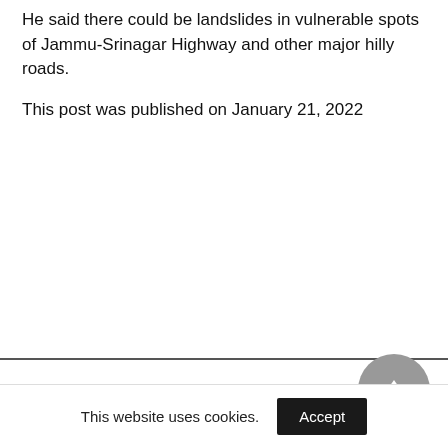He said there could be landslides in vulnerable spots of Jammu-Srinagar Highway and other major hilly roads.
This post was published on January 21, 2022
This website uses cookies.  Accept